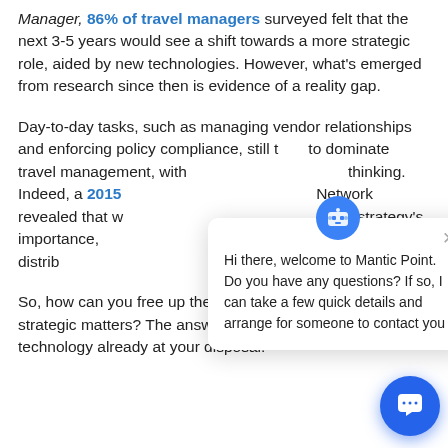Manager, 86% of travel managers surveyed felt that the next 3-5 years would see a shift towards a more strategic role, aided by new technologies. However, what's emerged from research since then is evidence of a reality gap.
Day-to-day tasks, such as managing vendor relationships and enforcing policy compliance, still tend to dominate travel management, with little room for strategic thinking. Indeed, a 2015 survey by the ACTE Global Network revealed that while travel managers are aware of strategy's importance, the actual picture showed roughly the same distribution of tasks as at any other time.
So, how can you free up the time needed to delve into more strategic matters? The answer may well come from technology already at your disposal.
[Figure (screenshot): Chat popup widget from Mantic Point with message: 'Hi there, welcome to Mantic Point. Do you have any questions? If so, I can take a few quick details and arrange for someone to contact you']